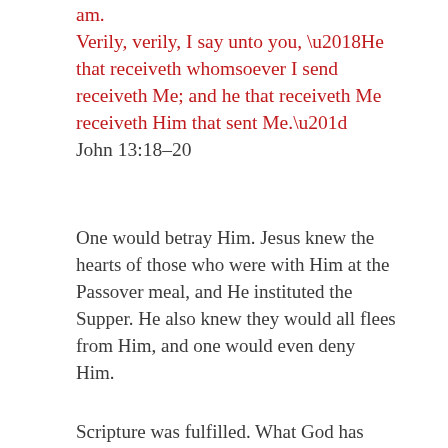am. Verily, verily, I say unto you, ‘He that receiveth whomsoever I send receiveth Me; and he that receiveth Me receiveth Him that sent Me.”    John 13:18–20
One would betray Him. Jesus knew the hearts of those who were with Him at the Passover meal, and He instituted the Supper. He also knew they would all flees from Him, and one would even deny Him.
Scripture was fulfilled. What God has spoken God will bring to pass. Its coming to pass does not, however, negate the responsibility of those who come out on the wrong end of the